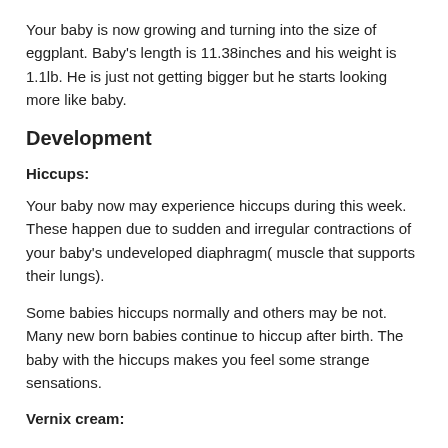Your baby is now growing and turning into the size of eggplant. Baby's length is 11.38inches and his weight is 1.1lb. He is just not getting bigger but he starts looking more like baby.
Development
Hiccups:
Your baby now may experience hiccups during this week. These happen due to sudden and irregular contractions of your baby's undeveloped diaphragm( muscle that supports their lungs).
Some babies hiccups normally and others may be not. Many new born babies continue to hiccup after birth. The baby with the hiccups makes you feel some strange sensations.
Vernix cream: